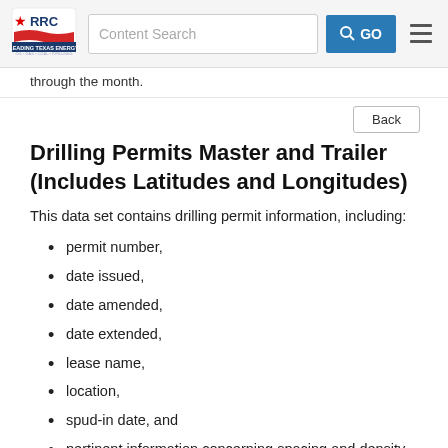Content Search [GO] [menu]
through the month.
Drilling Permits Master and Trailer (Includes Latitudes and Longitudes)
This data set contains drilling permit information, including:
permit number,
date issued,
date amended,
date extended,
lease name,
location,
spud-in date, and
pertinent information concerning spacing and density exceptions and included latitudes and